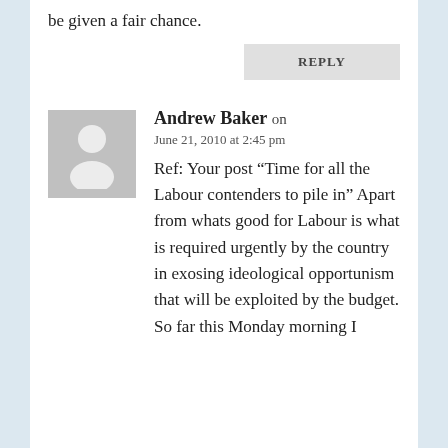be given a fair chance.
REPLY
Andrew Baker on
June 21, 2010 at 2:45 pm
Ref: Your post “Time for all the Labour contenders to pile in” Apart from whats good for Labour is what is required urgently by the country in exosing ideological opportunism that will be exploited by the budget. So far this Monday morning I